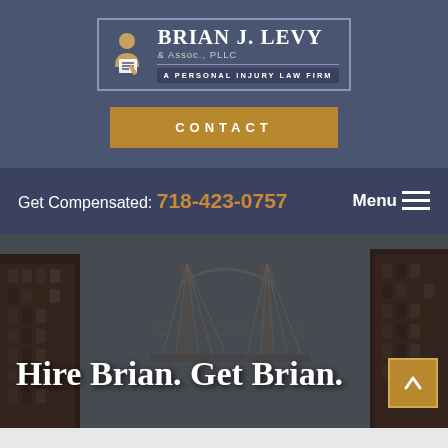[Figure (logo): Brian J. Levy & Assoc., PLLC — A Personal Injury Law Firm logo with person/writing icon inside a bordered box]
CONTACT
Get Compensated: 718-423-0757
Menu
[Figure (photo): NYC cityscape with Manhattan Bridge visible between brick buildings, dramatic sky]
Hire Brian. Get Brian.